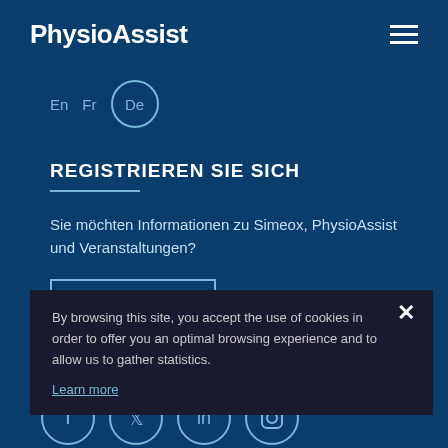PhysioAssist
En  Fr  De
REGISTRIEREN SIE SICH
Sie möchten Informationen zu Simeox, PhysioAssist und Veranstaltungen?
ABONNIEREN
FOLGEN SIE UNS
[Figure (screenshot): Social media icons row: Facebook, Twitter, LinkedIn, Instagram]
By browsing this site, you accept the use of cookies in order to offer you an optimal browsing experience and to allow us to gather statistics.
Learn more